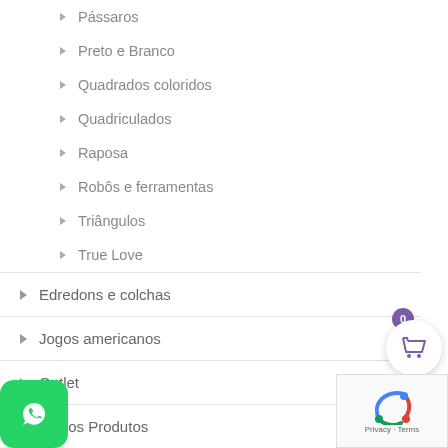Pássaros
Preto e Branco
Quadrados coloridos
Quadriculados
Raposa
Robôs e ferramentas
Triângulos
True Love
Edredons e colchas
Jogos americanos
Outlet
Outros Produtos
Panos de cera
Para brincar
Produtos sustentáveis